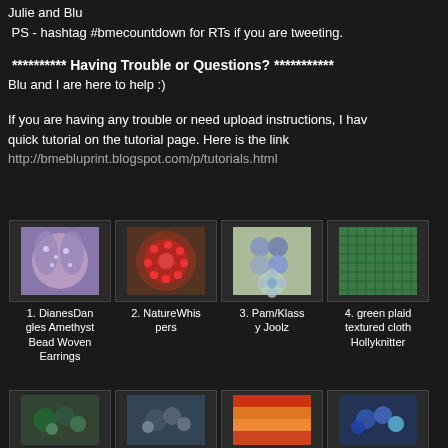Julie and Blu
PS - hashtag #bmecountdown for RTs if you are tweeting.
********** Having Trouble or Questions? *********** Blu and I are here to help :)
If you are having any trouble or need upload instructions, I have a quick tutorial on the tutorial page. Here is the link http://bmebluprint.blogspot.com/p/tutorials.html
[Figure (photo): 1. DianesDangles Amethyst Bead Woven Earrings]
[Figure (photo): 2. NatureWhispers]
[Figure (photo): 3. Pam/Klassy Joolz]
[Figure (photo): 4. green plaid textured cloth Hollyknitter]
[Figure (photo): Row 2 item 1 - beaded jewelry]
[Figure (photo): Row 2 item 2 - beaded jewelry]
[Figure (photo): Row 2 item 3 - colorful woven piece]
[Figure (photo): Row 2 item 4 - blue beaded jewelry]